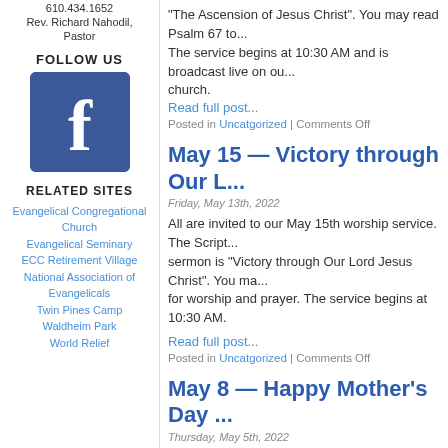610.434.1652
Rev. Richard Nahodil, Pastor
FOLLOW US
[Figure (logo): Facebook logo — blue square with white 'f']
RELATED SITES
Evangelical Congregational Church
Evangelical Seminary
ECC Retirement Village
National Association of Evangelicals
Twin Pines Camp
Waldheim Park
World Relief
“The Ascension of Jesus Christ”. You may read Psalm 67 to... The service begins at 10:30 AM and is broadcast live on ou... church.
Read full post...
Posted in Uncatgorized | Comments Off
May 15 — Victory through Our L...
Friday, May 13th, 2022
All are invited to our May 15th worship service. The Script... sermon is “Victory through Our Lord Jesus Christ”. You ma... for worship and prayer. The service begins at 10:30 AM.
Read full post...
Posted in Uncatgorized | Comments Off
May 8 — Happy Mother’s Day ...
Thursday, May 5th, 2022
All are invited to join our May 8th service as we honor mo... Timothy 1:3-5 and Proverbs 31:10-31. The sermon is “Mrs.... also read Psalm 23 to prepare for worship and prayer. The s... broadcast live on our […]
Read full post...
Posted in Uncatgorized | Comments Off